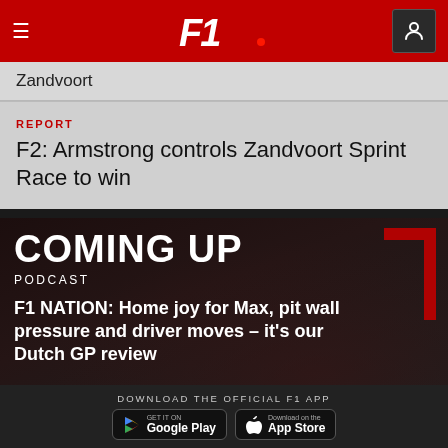F1 — Navigation header with hamburger menu, F1 logo, and user account icon
Zandvoort
REPORT
F2: Armstrong controls Zandvoort Sprint Race to win
[Figure (screenshot): Coming Up section with podcast promo. Large bold text 'COMING UP', subtitle 'PODCAST', and headline 'F1 NATION: Home joy for Max, pit wall pressure and driver moves – it's our Dutch GP review'. Red bracket graphic on right side. Dark background with car silhouette.]
DOWNLOAD THE OFFICIAL F1 APP
[Figure (screenshot): Google Play store download button — black rounded rectangle with Google Play triangle logo and text 'GET IT ON Google Play']
[Figure (screenshot): Apple App Store download button — black rounded rectangle with Apple logo and text 'Download on the App Store']